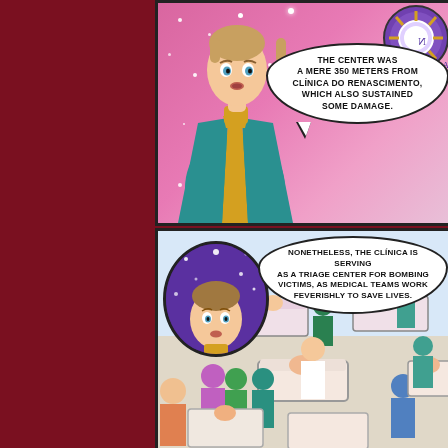[Figure (illustration): Comic book page with two panels. Top panel: a young man in a teal and gold futuristic outfit stands against a pink starry background with a circular badge/logo (purple and gold) in the upper right corner. A speech bubble reads: 'THE CENTER WAS A MERE 350 METERS FROM CLÍNICA DO RENASCIMENTO, WHICH ALSO SUSTAINED SOME DAMAGE.' Bottom panel: The same character appears in a circular inset at upper left against a purple starry background. A speech bubble reads: 'NONETHELESS, THE CLÍNICA IS SERVING AS A TRIAGE CENTER FOR BOMBING VICTIMS, AS MEDICAL TEAMS WORK FEVERISHLY TO SAVE LIVES.' The main scene shows a busy medical triage area with patients on beds and medical staff attending to them. A dark red vertical strip occupies the left quarter of the page.]